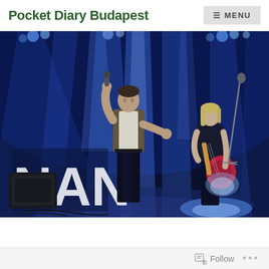Pocket Diary Budapest
[Figure (photo): Concert photo showing two performers on stage. A male vocalist in the center holding a microphone to his face, wearing an open plaid shirt over a white t-shirt and dark trousers. A female guitarist stands to the right. The stage is lit with blue and white spotlights. Large white letters 'NAN' visible on backdrop at left.]
Follow  ...